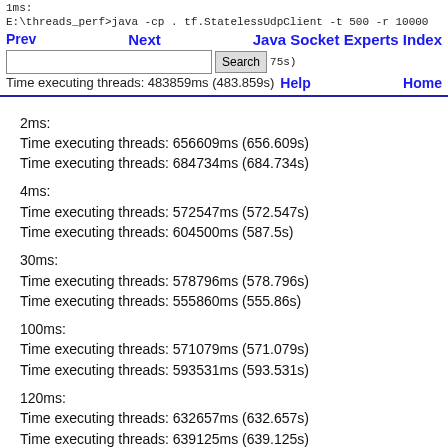1ms:
E:\threads_perf>java -cp . tf.StatelessUdpClient -t 500 -r 10000
...timing...875s)
Time executing threads: 483859ms (483.859s)
2ms:
Time executing threads: 656609ms (656.609s)
Time executing threads: 684734ms (684.734s)
4ms:
Time executing threads: 572547ms (572.547s)
Time executing threads: 604500ms (587.5s)
30ms:
Time executing threads: 578796ms (578.796s)
Time executing threads: 555860ms (555.86s)
100ms:
Time executing threads: 571079ms (571.079s)
Time executing threads: 593531ms (593.531s)
120ms:
Time executing threads: 632657ms (632.657s)
Time executing threads: 639125ms (639.125s)